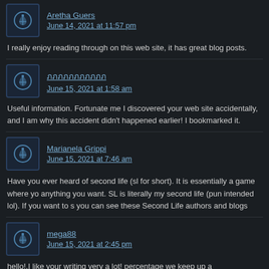Aretha Guers
June 14, 2021 at 11:57 pm
I really enjoy reading through on this web site, it has great blog posts.
ภภภภภภภภภภภ
June 15, 2021 at 1:58 am
Useful information. Fortunate me I discovered your web site accidentally, and I am why this accident didn't happened earlier! I bookmarked it.
Marianela Grippi
June 15, 2021 at 7:46 am
Have you ever heard of second life (sl for short). It is essentially a game where yo anything you want. SL is literally my second life (pun intended lol). If you want to s you can see these Second Life authors and blogs
mega88
June 15, 2021 at 2:45 pm
hello!,I like your writing very a lot! percentage we keep up a correspondence more